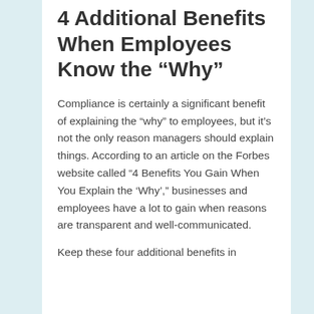4 Additional Benefits When Employees Know the “Why”
Compliance is certainly a significant benefit of explaining the “why” to employees, but it’s not the only reason managers should explain things. According to an article on the Forbes website called “4 Benefits You Gain When You Explain the ‘Why’,” businesses and employees have a lot to gain when reasons are transparent and well-communicated.
Keep these four additional benefits in